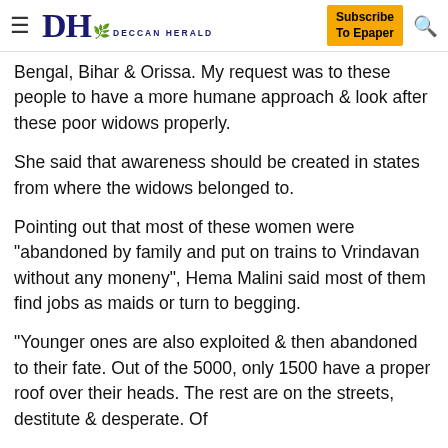DH DECCAN HERALD | Subscribe To Epaper
Bengal, Bihar & Orissa. My request was to these people to have a more humane approach & look after these poor widows properly.
She said that awareness should be created in states from where the widows belonged to.
Pointing out that most of these women were "abandoned by family and put on trains to Vrindavan without any moneny", Hema Malini said most of them find jobs as maids or turn to begging.
"Younger ones are also exploited & then abandoned to their fate. Out of the 5000, only 1500 have a proper roof over their heads. The rest are on the streets, destitute & desperate. Of